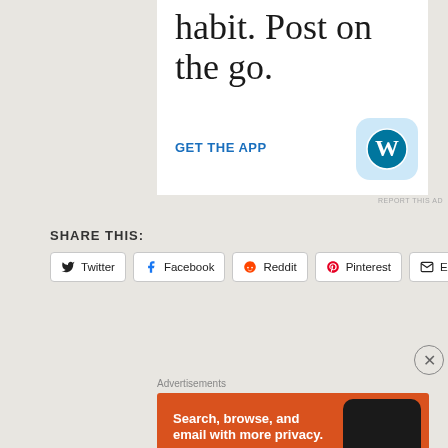[Figure (screenshot): WordPress app advertisement showing text 'habit. Post on the go.' with GET THE APP call to action and WordPress logo icon]
SHARE THIS:
[Figure (screenshot): Social share buttons row: Twitter, Facebook, Reddit, Pinterest, Email]
[Figure (screenshot): DuckDuckGo advertisement: 'Search, browse, and email with more privacy. All in One Free App' with phone mockup showing DuckDuckGo logo]